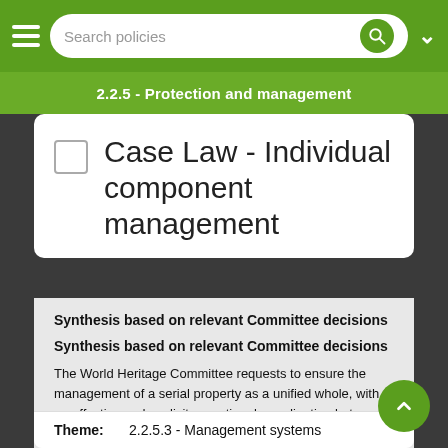2.2.5 - Protection and management
Case Law - Individual component management
Synthesis based on relevant Committee decisions
Synthesis based on relevant Committee decisions
The World Heritage Committee requests to ensure the management of a serial property as a unified whole, with an effective and explicit operational coordination between management plans existing for individual component parts of the site and the overall management plan for the property (based on case law on decisions on Nomination).
Theme: 2.2.5.3 - Management systems